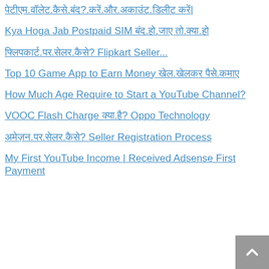पेटीएम.वॉलेट.कैसे.बंद?.करें.और.अकाउंट.डिलीट करें|
Kya Hoga Jab Postpaid SIM बंद.हो.जाए तो.क्या.हो
फ्लिपकार्ट.पर.सेलर.कैसे? Flipkart Seller...
Top 10 Game App to Earn Money खेल.खेलकर पैसे.कमाए
How Much Age Require to Start a YouTube Channel?
VOOC Flash Charge क्या.है? Oppo Technology
अमेज़न.पर.सेलर.कैसे? Seller Registration Process
My First YouTube Income | Received Adsense First Payment